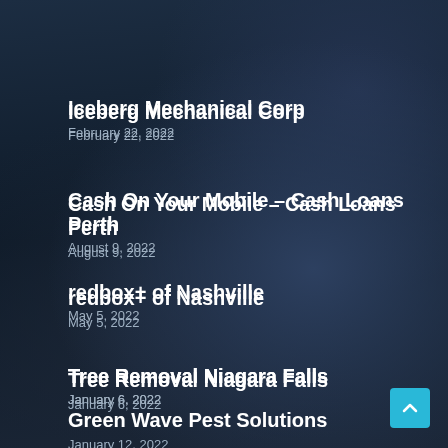Iceberg Mechanical Corp
February 22, 2022
Cash On Your Mobile – Cash Loans Perth
August 9, 2022
redbox+ of Nashville
May 5, 2022
Tree Removal Niagara Falls
January 6, 2022
Green Wave Pest Solutions
January 12, 2022